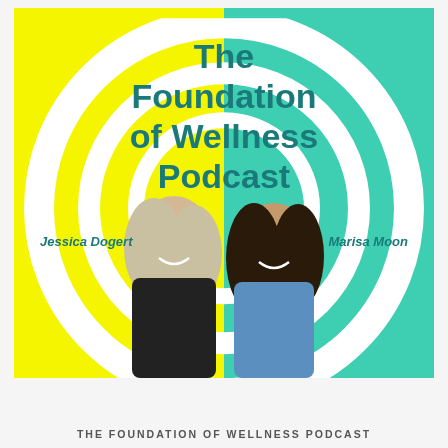[Figure (illustration): Podcast cover art showing two women smiling (Jessica Dogert and Marisa Moon) against a split yellow and teal background with concentric white circle rings. Title reads 'The Foundation of Wellness Podcast'.]
The Foundation of Wellness Podcast
Jessica Dogert
Marisa Moon
THE FOUNDATION OF WELLNESS PODCAST